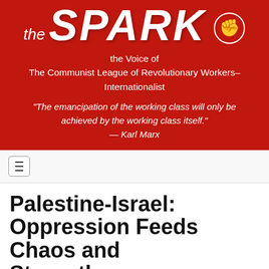the Spark — the Voice of The Communist League of Revolutionary Workers–Internationalist
"The emancipation of the working class will only be achieved by the working class itself." — Karl Marx
Palestine-Israel: Oppression Feeds Chaos and Strengthens Reactionary Currents